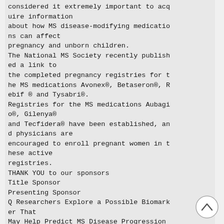considered it extremely important to acquire information about how MS disease-modifying medications can affect pregnancy and unborn children. The National MS Society recently published a link to the completed pregnancy registries for the MS medications Avonex®, Betaseron®, Rebif ® and Tysabri®. Registries for the MS medications Aubagio®, Gilenya® and Tecfidera® have been established, and physicians are encouraged to enroll pregnant women in these active registries.
THANK YOU to our sponsors
Title Sponsor
Presenting Sponsor
Q Researchers Explore a Possible Biomarker That May Help Predict MS Disease Progression Having a simple test that can reliably p